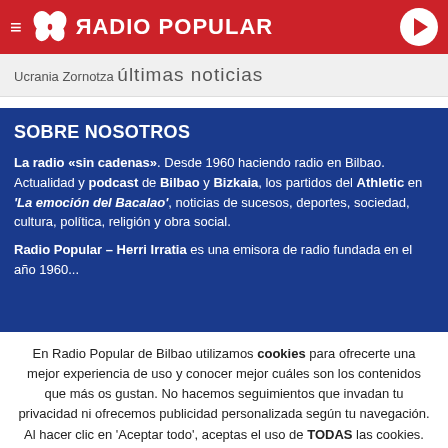RADIO POPULAR
Ucrania Zornotza últimas noticias
SOBRE NOSOTROS
La radio «sin cadenas». Desde 1960 haciendo radio en Bilbao. Actualidad y podcast de Bilbao y Bizkaia, los partidos del Athletic en 'La emoción del Bacalao', noticias de sucesos, deportes, sociedad, cultura, política, religión y obra social.
Radio Popular – Herri Irratia es una emisora de radio fundada en el año 1960...
En Radio Popular de Bilbao utilizamos cookies para ofrecerte una mejor experiencia de uso y conocer mejor cuáles son los contenidos que más os gustan. No hacemos seguimientos que invadan tu privacidad ni ofrecemos publicidad personalizada según tu navegación. Al hacer clic en 'Aceptar todo', aceptas el uso de TODAS las cookies.